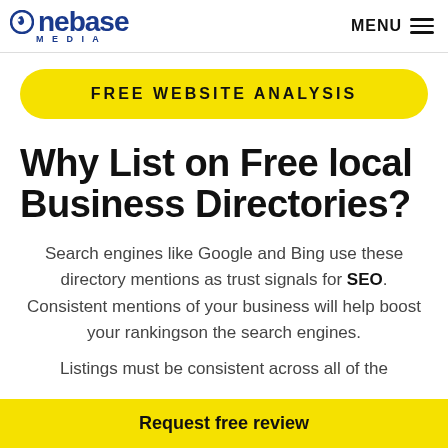onebase MEDIA — MENU
FREE WEBSITE ANALYSIS
Why List on Free local Business Directories?
Search engines like Google and Bing use these directory mentions as trust signals for SEO. Consistent mentions of your business will help boost your rankingson the search engines.
Listings must be consistent across all of the
Request free review